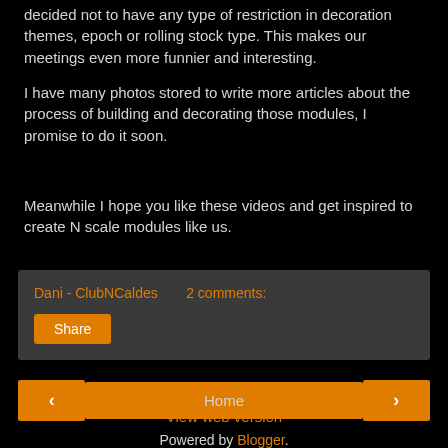decided not to have any type of restriction in decoration themes, epoch or rolling stock type. This makes our meetings even more funnier and interesting.
I have many photos stored to write more articles about the process of building and decorating those modules, I promise to do it soon.
Meanwhile I hope you like these videos and get inspired to create N scale modules like us.
Dani - ClubNCaldes   2 comments:
Share
< Home > View web version Powered by Blogger.